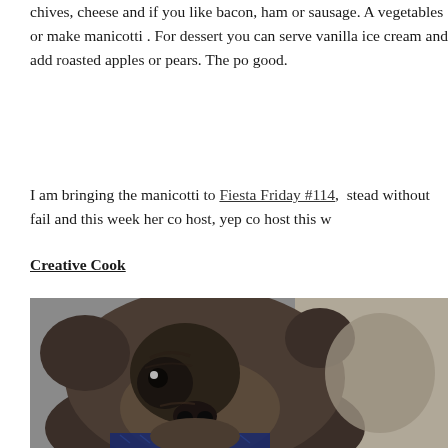chives, cheese and if you like bacon, ham or sausage. Add vegetables or make manicotti . For dessert you can serve vanilla ice cream and add roasted apples or pears. The po good.
I am bringing the manicotti to Fiesta Friday #114,  stead without fail and this week her co host, yep co host this w
Creative Cook
I am also bringing Mr. Percy I hope it’s a pet friendly pa dogs for Percy to play with and I got him an assortment o Which one should Percy wear to the party, they are all so Instagram and you will see many of the pugs wearing the from Mollys Pawtique in case anyone wants a super cute
[Figure (photo): Close-up photo of a pug dog looking at the camera, with another animal visible in the background]